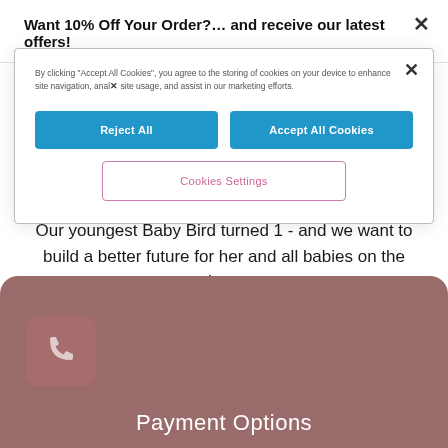Want 10% Off Your Order?… and receive our latest offers!
[Figure (screenshot): Cookie consent dialog with 'Reject All', 'Accept All Cookies', and 'Cookies Settings' buttons over a website page]
By clicking "Accept All Cookies", you agree to the storing of cookies on your device to enhance site navigation, analyse site usage, and assist in our marketing efforts.
Our youngest Baby Bird turned 1 - and we want to build a better future for her and all babies on the planet.
Payment Options